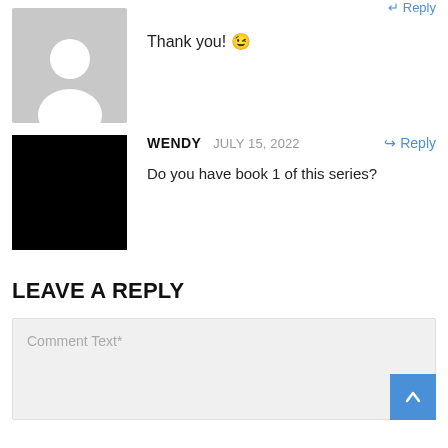[Figure (illustration): Grey silhouette avatar placeholder image]
Thank you! 😉
[Figure (illustration): Black square avatar placeholder image]
WENDY   JULY 15, 2022   ↩ Reply
Do you have book 1 of this series?
LEAVE A REPLY
Comment Text*